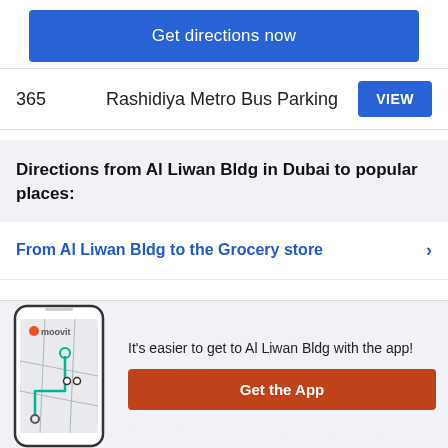Get directions now
|  | Destination | Action |
| --- | --- | --- |
| 365 | Rashidiya Metro Bus Parking | VIEW |
Directions from Al Liwan Bldg in Dubai to popular places:
From Al Liwan Bldg to the Grocery store
From Al Liwan Bldg to the Mall
...liwan Bldg to the Coffee shop
It's easier to get to Al Liwan Bldg with the app!
Get the App